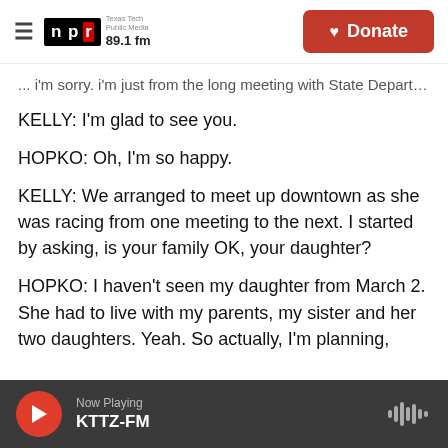NPR Texas Tech Public Media 89.1 fm | Donate
... i'm sorry. i'm just from the long meeting with State Department.
KELLY: I'm glad to see you.
HOPKO: Oh, I'm so happy.
KELLY: We arranged to meet up downtown as she was racing from one meeting to the next. I started by asking, is your family OK, your daughter?
HOPKO: I haven't seen my daughter from March 2. She had to live with my parents, my sister and her two daughters. Yeah. So actually, I'm planning,
Now Playing KTTZ-FM